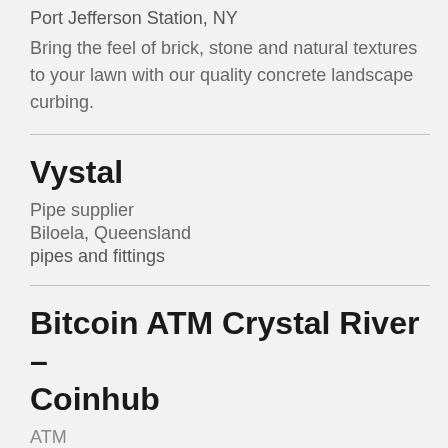Port Jefferson Station, NY
Bring the feel of brick, stone and natural textures to your lawn with our quality concrete landscape curbing.
Vystal
Pipe supplier
Biloela, Queensland
pipes and fittings
Bitcoin ATM Crystal River – Coinhub
ATM